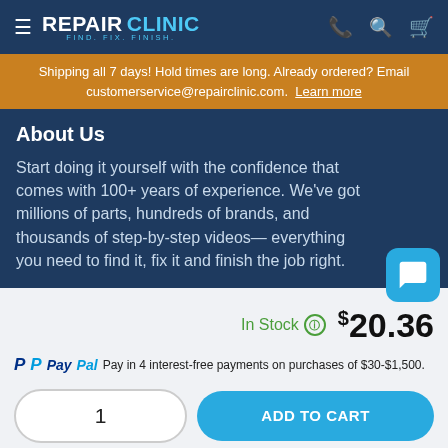≡ REPAIR CLINIC FIND. FIX. FINISH.
Shipping all 7 days! Hold times are long. Already ordered? Email customerservice@repairclinic.com. Learn more
About Us
Start doing it yourself with the confidence that comes with 100+ years of experience. We've got millions of parts, hundreds of brands, and thousands of step-by-step videos— everything you need to find it, fix it and finish the job right.
In Stock  $20.36
PayPal Pay in 4 interest-free payments on purchases of $30-$1,500.
1
ADD TO CART
Order today, this part ships tomorrow!